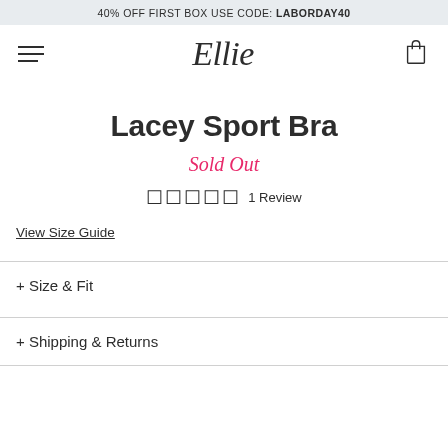40% OFF FIRST BOX USE CODE: LABORDAY40
[Figure (logo): Ellie script logo with hamburger menu and shopping bag icon in navigation bar]
Lacey Sport Bra
Sold Out
1 Review
View Size Guide
+ Size & Fit
+ Shipping & Returns